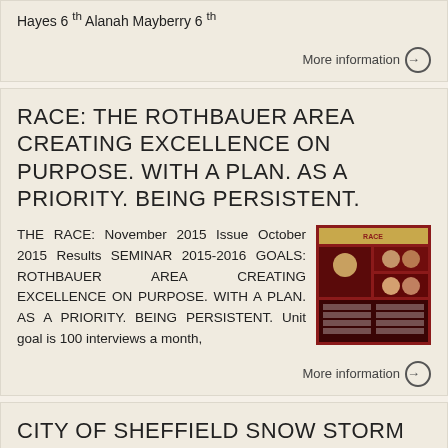Hayes 6 th Alanah Mayberry 6 th
More information →
RACE: THE ROTHBAUER AREA CREATING EXCELLENCE ON PURPOSE. WITH A PLAN. AS A PRIORITY. BEING PERSISTENT.
THE RACE: November 2015 Issue October 2015 Results SEMINAR 2015-2016 GOALS: ROTHBAUER AREA CREATING EXCELLENCE ON PURPOSE. WITH A PLAN. AS A PRIORITY. BEING PERSISTENT. Unit goal is 100 interviews a month,
[Figure (photo): RACE newsletter cover thumbnail with red background showing group photo]
More information →
CITY OF SHEFFIELD SNOW STORM MEET 2016 RESULTS
EVENT: 101 Boys 97 Yrs/Under 25m